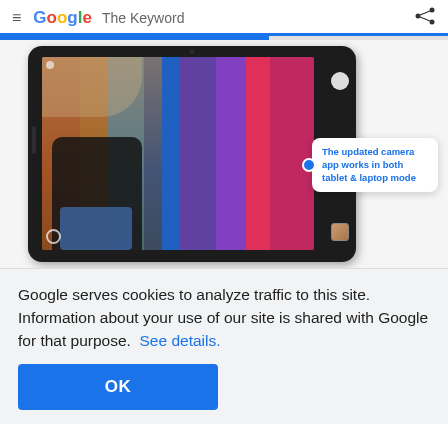≡ Google  The Keyword
[Figure (screenshot): A tablet device showing a camera app with a colorful striped background and a person standing in front of it. A tooltip bubble reads 'The updated camera app works in both tablet & laptop mode']
Google serves cookies to analyze traffic to this site. Information about your use of our site is shared with Google for that purpose.  See details.
OK